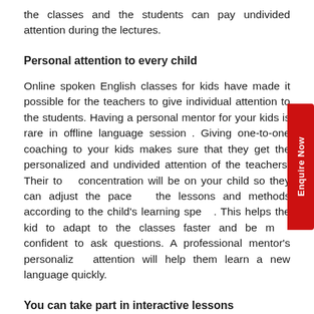the classes and the students can pay undivided attention during the lectures.
Personal attention to every child
Online spoken English classes for kids have made it possible for the teachers to give individual attention to the students. Having a personal mentor for your kids is rare in offline language sessions. Giving one-to-one coaching to your kids makes sure that they get the personalized and undivided attention of the teachers. Their total concentration will be on your child so they can adjust the pace of the lessons and methods according to the child's learning speed. This helps the kid to adapt to the classes faster and be more confident to ask questions. A professional mentor's personalized attention will help them learn a new language quickly.
You can take part in interactive lessons
Attending online spoken English classes for kids does not mean